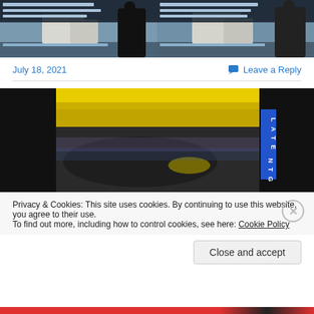[Figure (photo): Two side-by-side images of a person in dark clothing standing outdoors near white chalk cliffs with text overlays showing event listings]
July 18, 2021
Leave a Reply
[Figure (photo): Close-up image of a yellow and dark object with a blue vertical banner reading 'LATE NTG' on a black background]
Privacy & Cookies: This site uses cookies. By continuing to use this website, you agree to their use.
To find out more, including how to control cookies, see here: Cookie Policy
Close and accept